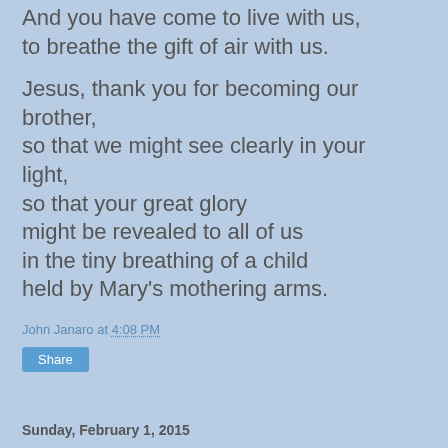And you have come to live with us, to breathe the gift of air with us.
Jesus, thank you for becoming our brother, so that we might see clearly in your light, so that your great glory might be revealed to all of us in the tiny breathing of a child held by Mary's mothering arms.
John Janaro at 4:08 PM
Share
Sunday, February 1, 2015